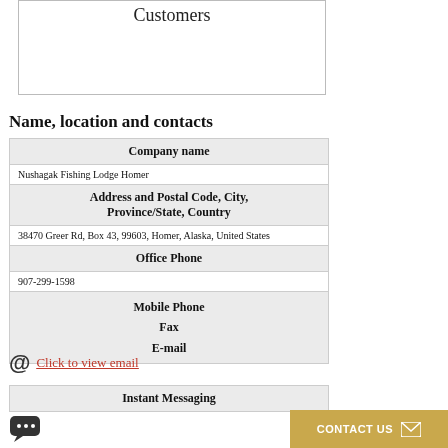[Figure (other): Top box with partial title text 'Customers' visible inside a bordered rectangle]
Name, location and contacts
| Company name |
| --- |
| Nushagak Fishing Lodge Homer |
| Address and Postal Code, City, Province/State, Country |
| --- |
| 38470 Greer Rd, Box 43, 99603, Homer, Alaska, United States |
| Office Phone |
| --- |
| 907-299-1598 |
| Mobile Phone
Fax
E-mail |
| --- |
|  |
@ Click to view email
| Instant Messaging |
| --- |
|  |